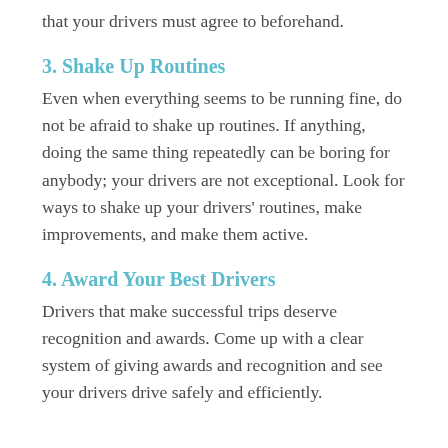that your drivers must agree to beforehand.
3. Shake Up Routines
Even when everything seems to be running fine, do not be afraid to shake up routines. If anything, doing the same thing repeatedly can be boring for anybody; your drivers are not exceptional. Look for ways to shake up your drivers' routines, make improvements, and make them active.
4. Award Your Best Drivers
Drivers that make successful trips deserve recognition and awards. Come up with a clear system of giving awards and recognition and see your drivers drive safely and efficiently.